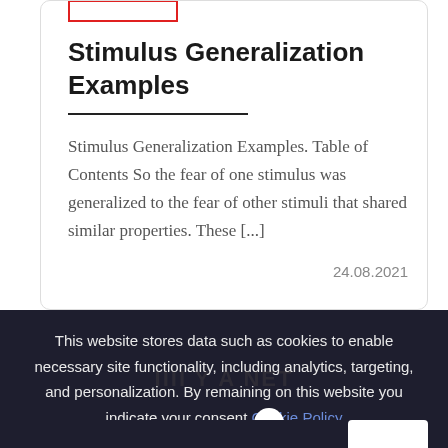Stimulus Generalization Examples
Stimulus Generalization Examples. Table of Contents So the fear of one stimulus was generalized to the fear of other stimuli that shared similar properties. These [...]
24.08.2021
This website stores data such as cookies to enable necessary site functionality, including analytics, targeting, and personalization. By remaining on this website you indicate your consent Cookie Policy